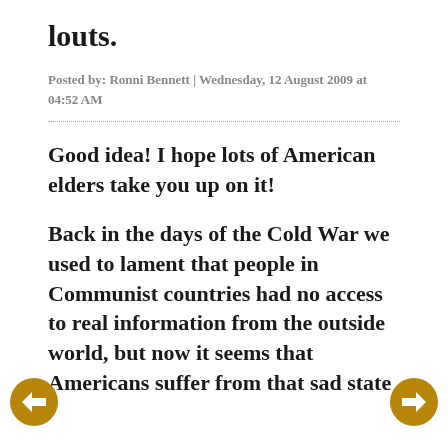louts.
Posted by: Ronni Bennett | Wednesday, 12 August 2009 at 04:52 AM
Good idea! I hope lots of American elders take you up on it!
Back in the days of the Cold War we used to lament that people in Communist countries had no access to real information from the outside world, but now it seems that Americans suffer from that sad state